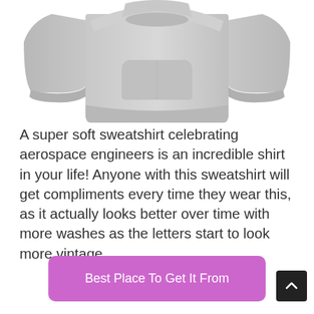[Figure (photo): A light gray hoodie sweatshirt shown from the front with a kangaroo pocket, displayed on a white background.]
A super soft sweatshirt celebrating aerospace engineers is an incredible shirt in your life! Anyone with this sweatshirt will get compliments every time they wear this, as it actually looks better over time with more washes as the letters start to look more vintage.
Best Place To Get It From